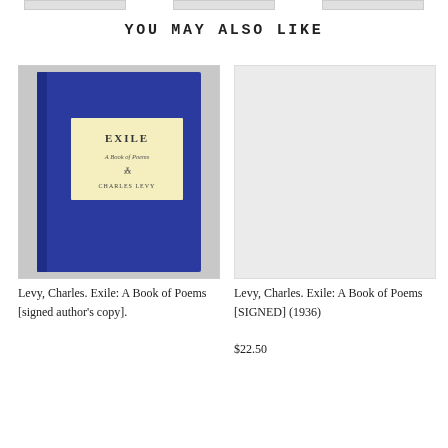YOU MAY ALSO LIKE
[Figure (photo): Book cover of 'Exile: A Book of Poems' by Charles Levy, blue cloth hardcover with cream label on front]
Levy, Charles. Exile: A Book of Poems [signed author's copy].
[Figure (photo): Placeholder image (light gray rectangle) for second book listing]
Levy, Charles. Exile: A Book of Poems [SIGNED] (1936)
$22.50